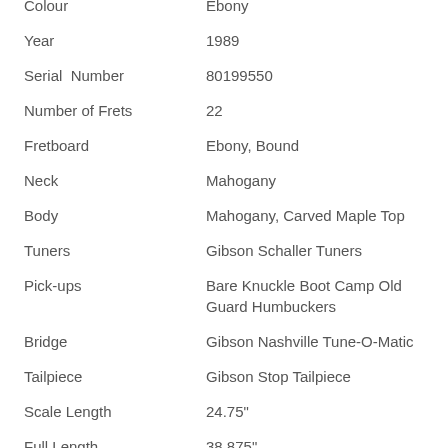| Colour | Ebony |
| Year | 1989 |
| Serial Number | 80199550 |
| Number of Frets | 22 |
| Fretboard | Ebony, Bound |
| Neck | Mahogany |
| Body | Mahogany, Carved Maple Top |
| Tuners | Gibson Schaller Tuners |
| Pick-ups | Bare Knuckle Boot Camp Old Guard Humbuckers |
| Bridge | Gibson Nashville Tune-O-Matic |
| Tailpiece | Gibson Stop Tailpiece |
| Scale Length | 24.75" |
| Full Length | 38.875" |
Further Information:
It may have first launched late in 1953, but